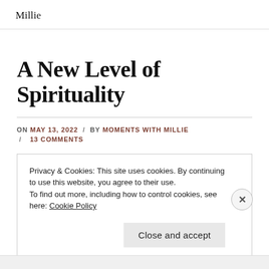Millie
A New Level of Spirituality
ON MAY 13, 2022 / BY MOMENTS WITH MILLIE / 13 COMMENTS
Privacy & Cookies: This site uses cookies. By continuing to use this website, you agree to their use.
To find out more, including how to control cookies, see here: Cookie Policy
Close and accept